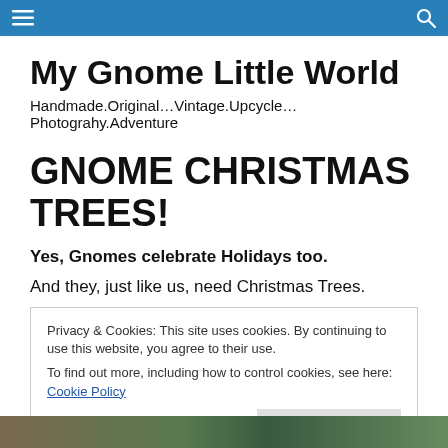Navigation bar with hamburger menu and search icon
My Gnome Little World
Handmade.Original…Vintage.Upcycle…Photograhy.Adventure
GNOME CHRISTMAS TREES!
Yes, Gnomes celebrate Holidays too.
And they, just like us, need Christmas Trees.
Privacy & Cookies: This site uses cookies. By continuing to use this website, you agree to their use.
To find out more, including how to control cookies, see here: Cookie Policy
[Figure (photo): Partial photo strip at bottom of page]